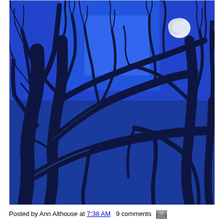[Figure (photo): A blue-tinted night or twilight photograph of bare tree branches silhouetted against a vivid blue sky, with a partial moon visible through the branches in the upper right area of the image.]
Posted by Ann Althouse at 7:38 AM   9 comments